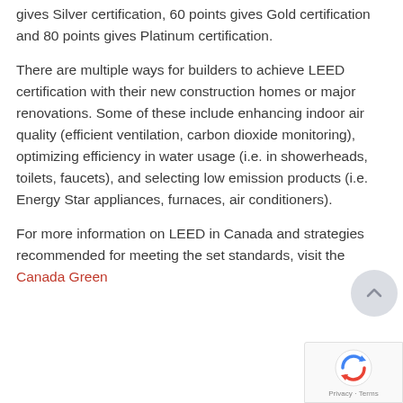gives Silver certification, 60 points gives Gold certification and 80 points gives Platinum certification.
There are multiple ways for builders to achieve LEED certification with their new construction homes or major renovations. Some of these include enhancing indoor air quality (efficient ventilation, carbon dioxide monitoring), optimizing efficiency in water usage (i.e. in showerheads, toilets, faucets), and selecting low emission products (i.e. Energy Star appliances, furnaces, air conditioners).
For more information on LEED in Canada and strategies recommended for meeting the set standards, visit the Canada Green...